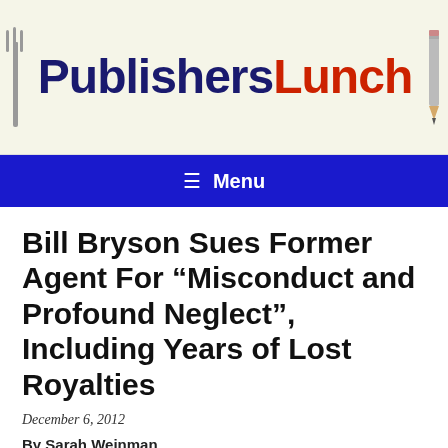[Figure (logo): PublishersLunch logo with fork on left, pencil on right, dark blue 'Publishers' and red 'Lunch' text on cream background]
Menu
Bill Bryson Sues Former Agent For “Misconduct and Profound Neglect”, Including Years of Lost Royalties
December 6, 2012
By Sarah Weinman
Bestselling author Bill Bryson filed suit